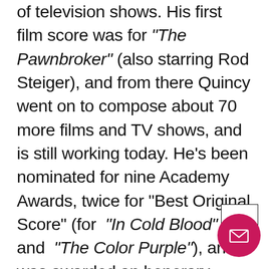of television shows. His first film score was for "The Pawnbroker" (also starring Rod Steiger), and from there Quincy went on to compose about 70 more films and TV shows, and is still working today. He's been nominated for nine Academy Awards, twice for "Best Original Score" (for "In Cold Blood" and "The Color Purple"), and was awarded an honorary Humanitarian Oscar in 1995. Some of the films he's composed music for include "The Getaway", "For Love of Ivy", "Cactus Flower", "The Pawnbroker", "Bob & Carol & Ted & Alice", "The Color Purple", "In Cold Blood", and "In Heat of the Night". He also composed the music for the title song in "In Heat of the Night", and legendary